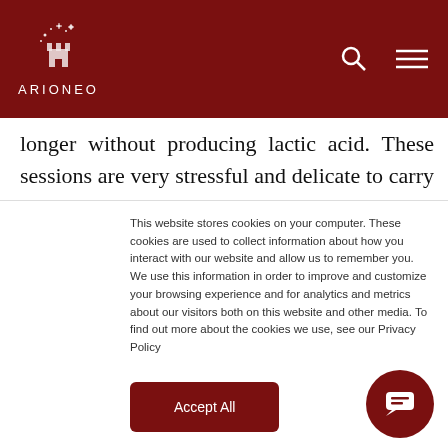ARIONEO
longer without producing lactic acid. These sessions are very stressful and delicate to carry out and it is advisable to monitor the horse before and after the exercise in order to ensure its state of health.
By optimising his physical condition, the horse
This website stores cookies on your computer. These cookies are used to collect information about how you interact with our website and allow us to remember you. We use this information in order to improve and customize your browsing experience and for analytics and metrics about our visitors both on this website and other media. To find out more about the cookies we use, see our Privacy Policy
Accept All